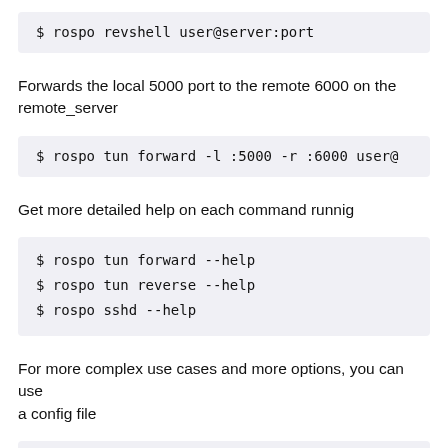$ rospo revshell user@server:port
Forwards the local 5000 port to the remote 6000 on the remote_server
$ rospo tun forward -l :5000 -r :6000 user@...
Get more detailed help on each command runnig
$ rospo tun forward --help
$ rospo tun reverse --help
$ rospo sshd --help
For more complex use cases and more options, you can use a config file